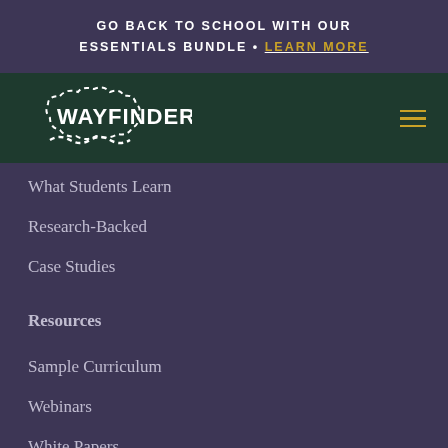GO BACK TO SCHOOL WITH OUR ESSENTIALS BUNDLE • LEARN MORE
[Figure (logo): Wayfinder logo with dashed cloud outline and wavy underline on dark green background]
What Students Learn
Research-Backed
Case Studies
Resources
Sample Curriculum
Webinars
White Papers